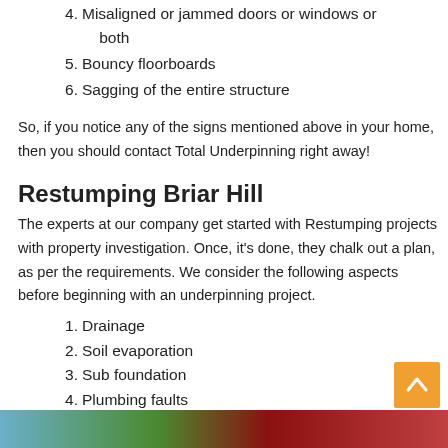4. Misaligned or jammed doors or windows or both
5. Bouncy floorboards
6. Sagging of the entire structure
So, if you notice any of the signs mentioned above in your home, then you should contact Total Underpinning right away!
Restumping Briar Hill
The experts at our company get started with Restumping projects with property investigation. Once, it's done, they chalk out a plan, as per the requirements. We consider the following aspects before beginning with an underpinning project.
1. Drainage
2. Soil evaporation
3. Sub foundation
4. Plumbing faults
5. Prevailing weather conditions
6. Existing foundation